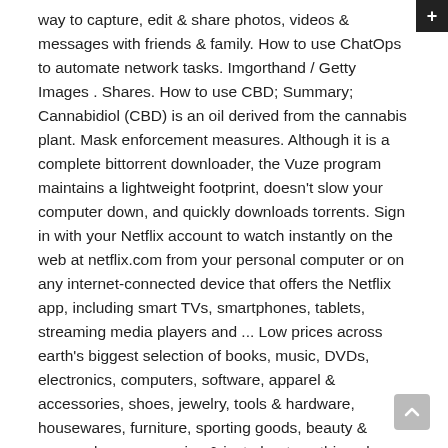way to capture, edit & share photos, videos & messages with friends & family. How to use ChatOps to automate network tasks. Imgorthand / Getty Images . Shares. How to use CBD; Summary; Cannabidiol (CBD) is an oil derived from the cannabis plant. Mask enforcement measures. Although it is a complete bittorrent downloader, the Vuze program maintains a lightweight footprint, doesn't slow your computer down, and quickly downloads torrents. Sign in with your Netflix account to watch instantly on the web at netflix.com from your personal computer or on any internet-connected device that offers the Netflix app, including smart TVs, smartphones, tablets, streaming media players and ... Low prices across earth's biggest selection of books, music, DVDs, electronics, computers, software, apparel & accessories, shoes, jewelry, tools & hardware, housewares, furniture, sporting goods, beauty & personal care, groceries & just about anything else. 204-474-6259 Fax: 204-474-7608 e-mail: Kirk_Marat@Umanitoba.ca Kirk_Marat@Umanitoba.ca To date, over $2 billion Ronco branded products have been sold in America. By Avram Piltch - Online Editorial Director 17 June 2019. In this net use example, we want to map our e: drive to the smithmark shared folder on usrsvr002 want to connect as another user account we have [/user] by the